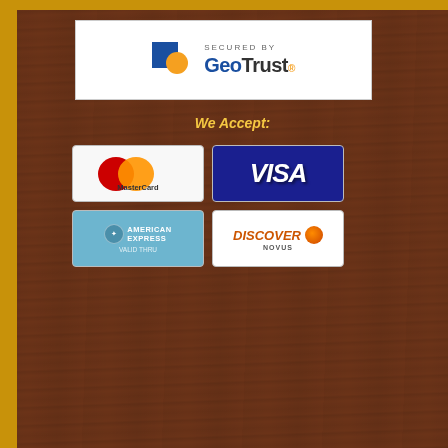[Figure (screenshot): GeoTrust Secured By badge - white rectangle with blue square and orange circle logo, text 'SECURED BY GeoTrust']
We Accept:
[Figure (illustration): MasterCard credit card badge]
[Figure (illustration): Visa credit card badge]
[Figure (illustration): American Express credit card badge]
[Figure (illustration): Discover/Novus credit card badge]
[Figure (photo): Front firing blank gun product photo - top portion partially cropped, showing black gun handle and magazine area]
See details
Replica-Eko... Firing Jacka... Barrel. All b...
Market pr... Our price...
Buy Now
Front Firi... Blank Gu... SKU: FFJac...
[Figure (photo): Front Firing Compact M replica Ekol blank gun - silver/chrome semi-automatic pistol with black grip, facing left]
Front Firing Compact M Replica-Ekol Firing Jacka... Barrel. All b...
Market pr... Our price...
Buy Now
See details
Result pages:
1  2  3  4  5  6  7  8  9  10
[Figure (logo): Authorize.Net Verified Click logo badge]